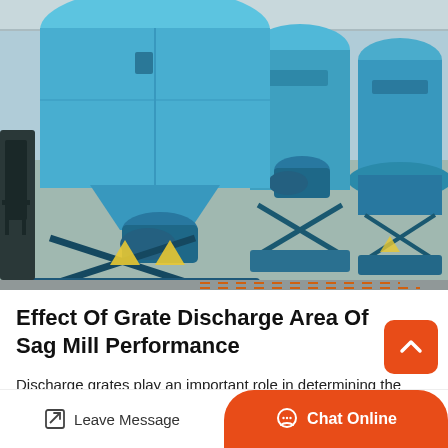[Figure (photo): Industrial ball mill or SAG mill machines painted blue, lined up in a factory/warehouse setting. Multiple large cylindrical grinding machines on grey concrete floor.]
Effect Of Grate Discharge Area Of Sag Mill Performance
Discharge grates play an important role in determining the performance of autogenous, semiautogenous and grate discharge